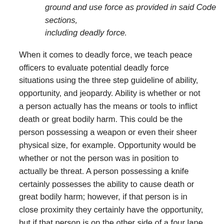ground and use force as provided in said Code sections, including deadly force.
When it comes to deadly force, we teach peace officers to evaluate potential deadly force situations using the three step guideline of ability, opportunity, and jeopardy. Ability is whether or not a person actually has the means or tools to inflict death or great bodily harm. This could be the person possessing a weapon or even their sheer physical size, for example. Opportunity would be whether or not the person was in position to actually be threat. A person possessing a knife certainly possesses the ability to cause death or great bodily harm; however, if that person is in close proximity they certainly have the opportunity, but if that person is on the other side of a four lane highway, they are not in a position to where they could actually use the knife to cause harm. Finally, jeopardy would be whether or not there was actual reason to believe the person was a threat. Just because a person has ability and opportunity does not mean they are a threat. Keep in mind that the aforementioned labels also apply to a person legally carrying a firearm. The key consideration is whether or not the person in question is behaving in a manner that would cause